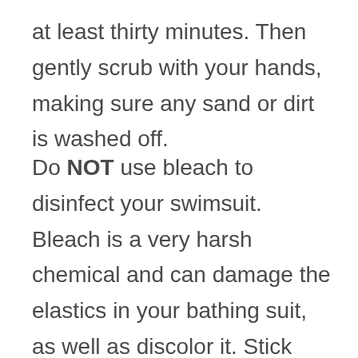at least thirty minutes. Then gently scrub with your hands, making sure any sand or dirt is washed off.
Do NOT use bleach to disinfect your swimsuit. Bleach is a very harsh chemical and can damage the elastics in your bathing suit, as well as discolor it. Stick with laundry detergent and vinegar.